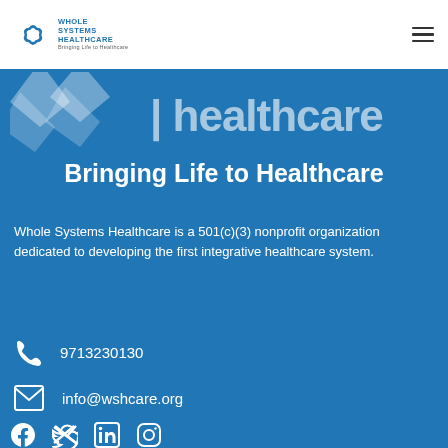Whole Systems Healthcare — Bringing Life to Healthcare (logo/nav header)
[Figure (logo): Whole Systems Healthcare logo with decorative snowflake/petals icon and company name, partially cropped at top of blue section]
Bringing Life to Healthcare
Whole Systems Healthcare is a 501(c)(3) nonprofit organization dedicated to developing the first integrative healthcare system.
9713230130
info@wshcare.org
[Figure (illustration): Social media icons row: Facebook, Twitter, LinkedIn, Instagram]